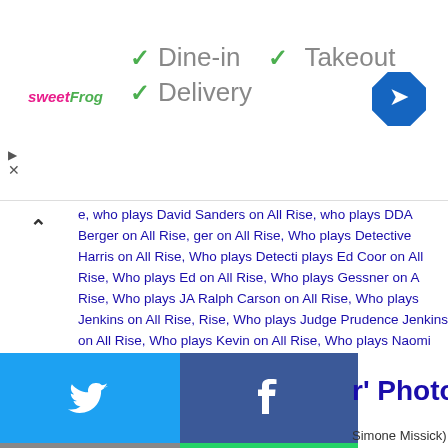[Figure (screenshot): sweetFrog logo on left, checkmarks for Dine-in, Takeout, Delivery options, navigation/map icon top right]
✓ Dine-in ✓ Takeout ✓ Delivery
e, who plays David Sanders on All Rise, who plays DDA Berger on All Rise, ger on All Rise, Who plays Detective Harris on All Rise, Who plays Detecti plays Ed Coor on All Rise, Who plays Ed on All Rise, Who plays Gessner on A Rise, Who plays JA Ralph Carson on All Rise, Who plays Jenkins on All Rise, Rise, Who plays Judge Prudence Jenkins on All Rise, Who plays Kevin on All Rise, Who plays Naomi on All Rise, Who plays Naomi Wilkinson on All Rise, W Who plays Prudence on All Rise, Who plays Ralph Carson on All Rise, Who p plays Shayne Monroe on All Rise, Who plays Shayne on All Rise, Who plays S plays Sylvia on All Rise, Who plays Wendy Gessner on All Rise, Who plays W Wilkinson on All Rise
[Figure (screenshot): Share grid with Twitter (blue), Facebook (dark blue), Email (grey), WhatsApp (green), SMS (blue), other (green) sharing options]
r' Photos
Simone Missick) tries t